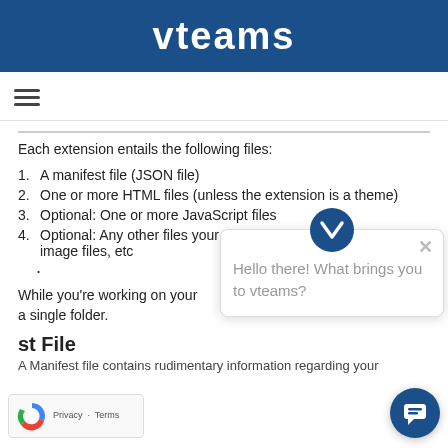vteams
Each extension entails the following files:
1. A manifest file (JSON file)
2. One or more HTML files (unless the extension is a theme)
3. Optional: One or more JavaScript files
4. Optional: Any other files your extension needs, for example, image files, etc
While you’re working on your extension, keep all its files within a single folder.
st File
A Manifest file contains rudimentary information regarding your